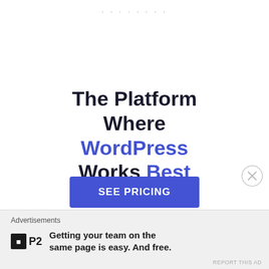. . . . . . . .
The Platform Where WordPress Works Best
SEE PRICING
Advertisements
P2  Getting your team on the same page is easy. And free.
REPORT THIS AD